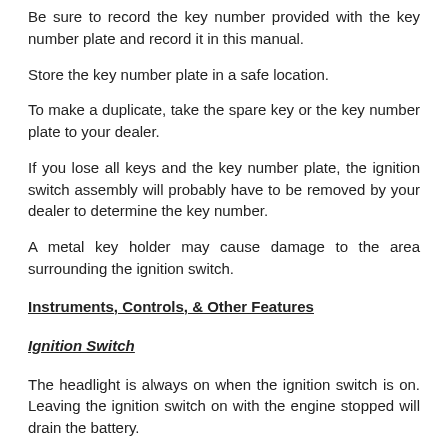Be sure to record the key number provided with the key number plate and record it in this manual.
Store the key number plate in a safe location.
To make a duplicate, take the spare key or the key number plate to your dealer.
If you lose all keys and the key number plate, the ignition switch assembly will probably have to be removed by your dealer to determine the key number.
A metal key holder may cause damage to the area surrounding the ignition switch.
Instruments, Controls, & Other Features
Ignition Switch
The headlight is always on when the ignition switch is on. Leaving the ignition switch on with the engine stopped will drain the battery.